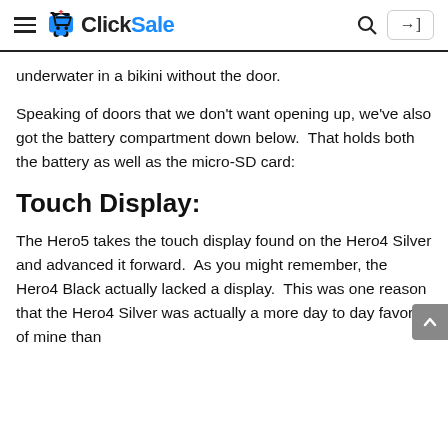ClickSale
underwater in a bikini without the door.
Speaking of doors that we don't want opening up, we've also got the battery compartment down below.  That holds both the battery as well as the micro-SD card:
Touch Display:
The Hero5 takes the touch display found on the Hero4 Silver and advanced it forward.  As you might remember, the Hero4 Black actually lacked a display.  This was one reason that the Hero4 Silver was actually a more day to day favorite of mine than